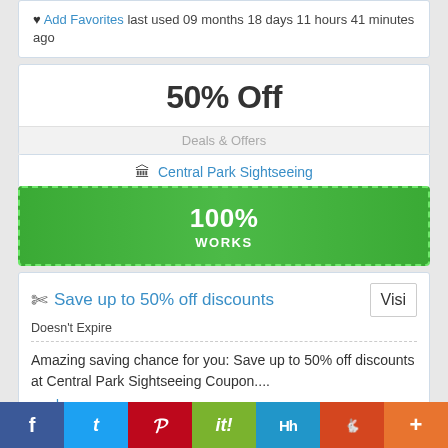♥ Add Favorites last used 09 months 18 days 11 hours 41 minutes ago
50% Off
Deals & Offers
🏛 Central Park Sightseeing
100% WORKS
Save up to 50% off discounts
Visi
Doesn't Expire
Amazing saving chance for you: Save up to 50% off discounts at Central Park Sightseeing Coupon.... read more
f  t  p  it!  h  reddit  +